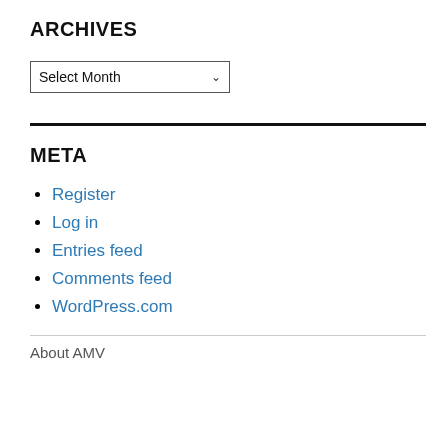ARCHIVES
[Figure (screenshot): A dropdown select box showing 'Select Month' with a chevron arrow on the right]
META
Register
Log in
Entries feed
Comments feed
WordPress.com
About AMV